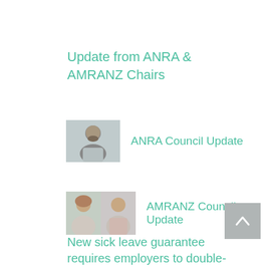Update from ANRA & AMRANZ Chairs
[Figure (photo): Headshot of a man with beard for ANRA Council Update]
ANRA Council Update
[Figure (photo): Two headshots side by side for AMRANZ Council Update]
AMRANZ Council Update
New sick leave guarantee requires employers to double-fund leave for